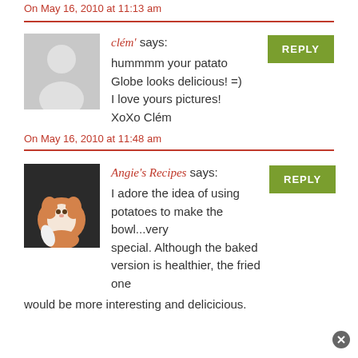On May 16, 2010 at 11:13 am
clém' says: hummmm your patato Globe looks delicious! =) I love yours pictures! XoXo Clém
On May 16, 2010 at 11:48 am
[Figure (photo): Avatar photo of a cat (orange and white cat curled up)]
Angie's Recipes says: I adore the idea of using potatoes to make the bowl...very special. Although the baked version is healthier, the fried one would be more interesting and delicicious.